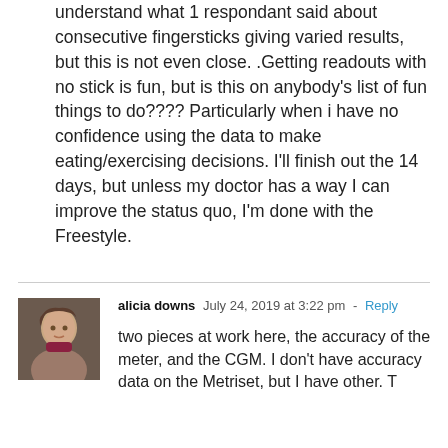understand what 1 respondant said about consecutive fingersticks giving varied results, but this is not even close. .Getting readouts with no stick is fun, but is this on anybody's list of fun things to do???? Particularly when i have no confidence using the data to make eating/exercising decisions. I'll finish out the 14 days, but unless my doctor has a way I can improve the status quo, I'm done with the Freestyle.
alicia downs  July 24, 2019 at 3:22 pm - Reply
two pieces at work here, the accuracy of the meter, and the CGM. I don't have accuracy data on the Metriset, but I have other...